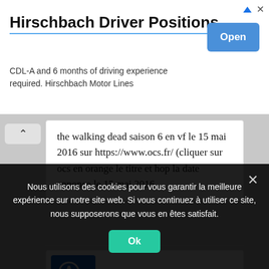[Figure (screenshot): Advertisement banner for Hirschbach Driver Positions with title, subtitle text, and Open button]
Hirschbach Driver Positions
CDL-A and 6 months of driving experience required. Hirschbach Motor Lines
the walking dead saison 6 en vf le 15 mai 2016 sur https://www.ocs.fr/ (cliquer sur ocs en orange le titre et hop la date annonce le 15 mai 2016
[Figure (logo): Blue square logo with white CD or similar symbol]
Nous utilisons des cookies pour vous garantir la meilleure expérience sur notre site web. Si vous continuez à utiliser ce site, nous supposerons que vous en êtes satisfait.